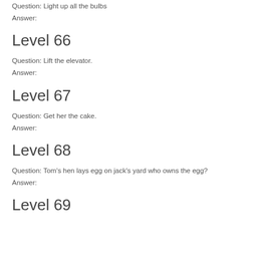Question: Light up all the bulbs
Answer:
Level 66
Question: Lift the elevator.
Answer:
Level 67
Question: Get her the cake.
Answer:
Level 68
Question: Tom's hen lays egg on jack's yard who owns the egg?
Answer:
Level 69